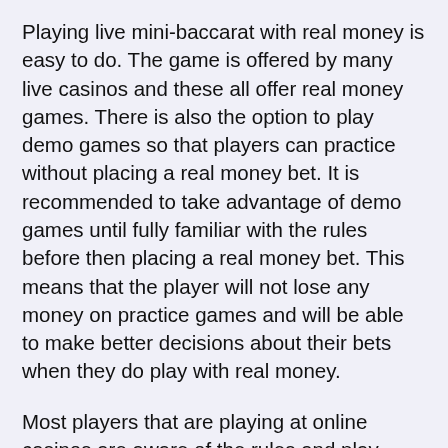Playing live mini-baccarat with real money is easy to do. The game is offered by many live casinos and these all offer real money games. There is also the option to play demo games so that players can practice without placing a real money bet. It is recommended to take advantage of demo games until fully familiar with the rules before then placing a real money bet. This means that the player will not lose any money on practice games and will be able to make better decisions about their bets when they do play with real money.
Most players that are playing at online casinos are aware of the rules and play quite well. It is a game that relies entirely on the luck of the draw and as the player is playing against the house rather than other players when they play online, then the skill of other players is not necessarily an important factor. The main thing for players to remember is that they need to be fully familiar with the game and the rules so that they can make the best bets.